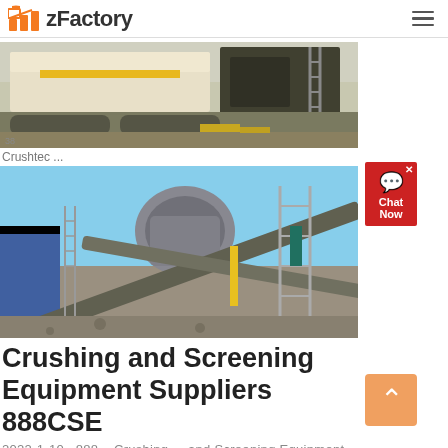zFactory
[Figure (photo): Partial view of a large yellow and white mining/crushing machine on a rocky site, cropped at the top]
Crushtec ...
[Figure (photo): Crushing and screening equipment at an industrial site against a blue sky, showing conveyors, crushers and scaffolding]
Crushing and Screening Equipment Suppliers 888CSE
2022-1-10  888  Crushing  and Screening Equipment (888CSE)